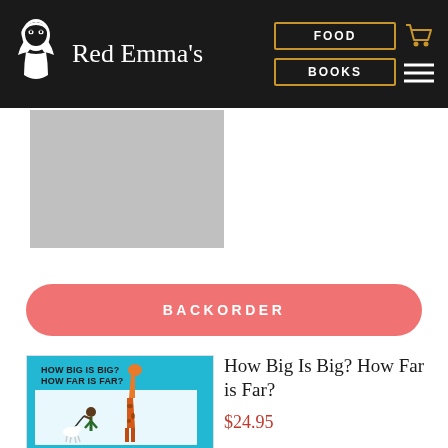Red Emma's — FOOD | BOOKS
[Figure (screenshot): Partially visible book cover (gray placeholder) at top of page]
BACKORDER
[Figure (illustration): Book cover of 'How Big Is Big? How Far is Far?' showing a giraffe, a person walking a small dog on a cyan/turquoise background with bold title text]
How Big Is Big? How Far is Far?
$24.95